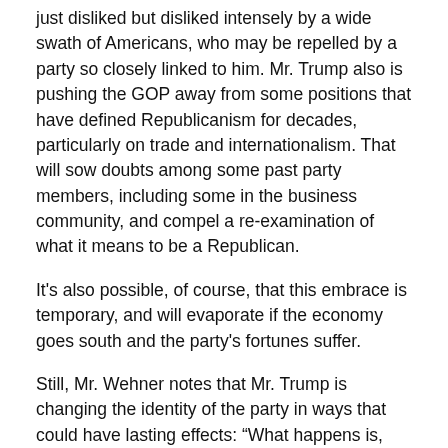just disliked but disliked intensely by a wide swath of Americans, who may be repelled by a party so closely linked to him. Mr. Trump also is pushing the GOP away from some positions that have defined Republicanism for decades, particularly on trade and internationalism. That will sow doubts among some past party members, including some in the business community, and compel a re-examination of what it means to be a Republican.
It's also possible, of course, that this embrace is temporary, and will evaporate if the economy goes south and the party's fortunes suffer.
Still, Mr. Wehner notes that Mr. Trump is changing the identity of the party in ways that could have lasting effects: “What happens is, Trump is changing the core base of the party, and that will eventually filter up to officeholders.”